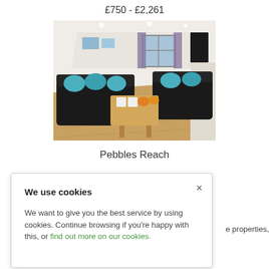£750 - £2,261
[Figure (photo): Interior photo of a living room with black leather sofas, teal cushions, wooden coffee table, wooden floor, wall art, and a window with curtains]
Pebbles Reach
We use cookies
We want to give you the best service by using cookies. Continue browsing if you're happy with this, or find out more on our cookies.
e properties,